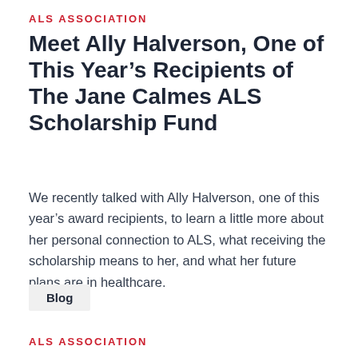ALS ASSOCIATION
Meet Ally Halverson, One of This Year’s Recipients of The Jane Calmes ALS Scholarship Fund
We recently talked with Ally Halverson, one of this year’s award recipients, to learn a little more about her personal connection to ALS, what receiving the scholarship means to her, and what her future plans are in healthcare.
Blog
ALS ASSOCIATION